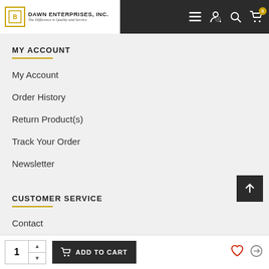Dawn Enterprises, Inc. — The Difference is Quality and Service
MY ACCOUNT
My Account
Order History
Return Product(s)
Track Your Order
Newsletter
CUSTOMER SERVICE
Contact
About Us